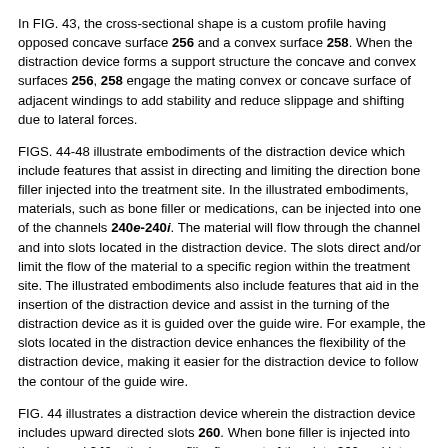In FIG. 43, the cross-sectional shape is a custom profile having opposed concave surface 256 and a convex surface 258. When the distraction device forms a support structure the concave and convex surfaces 256, 258 engage the mating convex or concave surface of adjacent windings to add stability and reduce slippage and shifting due to lateral forces.
FIGS. 44-48 illustrate embodiments of the distraction device which include features that assist in directing and limiting the direction bone filler injected into the treatment site. In the illustrated embodiments, materials, such as bone filler or medications, can be injected into one of the channels 240e-240i. The material will flow through the channel and into slots located in the distraction device. The slots direct and/or limit the flow of the material to a specific region within the treatment site. The illustrated embodiments also include features that aid in the insertion of the distraction device and assist in the turning of the distraction device as it is guided over the guide wire. For example, the slots located in the distraction device enhances the flexibility of the distraction device, making it easier for the distraction device to follow the contour of the guide wire.
FIG. 44 illustrates a distraction device wherein the distraction device includes upward directed slots 260. When bone filler is injected into the channel 240e, the boner filler flows out of the slots 260 and into areas on both the inside and outside of the distraction device support structure.